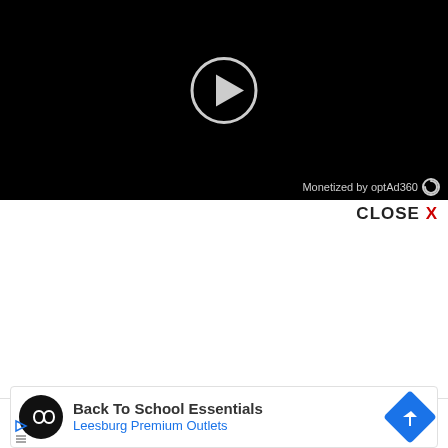[Figure (screenshot): Black video player with a circular play button (triangle inside circle outline) centered on a dark background. Bottom-right shows 'Monetized by optAd360' with a loading/refresh icon.]
CLOSE X
[Figure (screenshot): Advertisement banner: black circular logo with infinity symbol, text 'Back To School Essentials' in bold dark gray, 'Leesburg Premium Outlets' in blue, blue diamond arrow icon on right, small play and X icons at bottom left.]